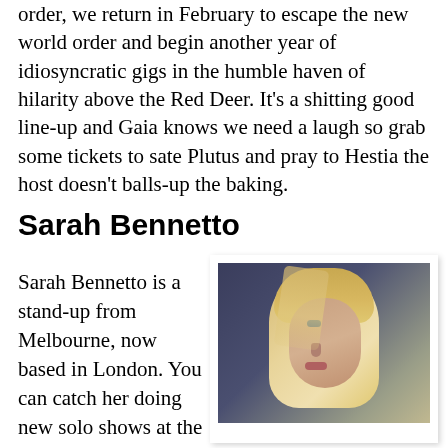order, we return in February to escape the new world order and begin another year of idiosyncratic gigs in the humble haven of hilarity above the Red Deer. It's a shitting good line-up and Gaia knows we need a laugh so grab some tickets to sate Plutus and pray to Hestia the host doesn't balls-up the baking.
Sarah Bennetto
Sarah Bennetto is a stand-up from Melbourne, now based in London. You can catch her doing new solo shows at the Edinburgh Fringe every year, music
[Figure (photo): Portrait photo of Sarah Bennetto, a woman with blonde hair in profile/three-quarter view against a dark blue-grey background]